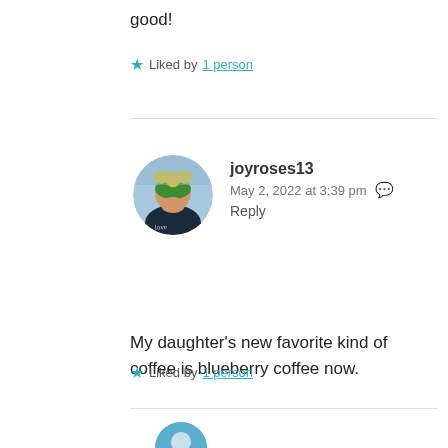good!
★ Liked by 1 person
[Figure (photo): User avatar showing a woman in front of sunflowers with text 'love']
joyroses13
May 2, 2022 at 3:39 pm
Reply
My daughter's new favorite kind of coffee is blueberry coffee now.
★ Liked by 1 person
[Figure (photo): Partial user avatar at bottom of page]